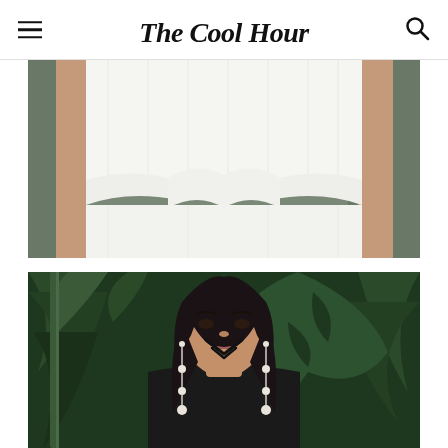The Cool Hour
[Figure (photo): Close-up photo of a person wearing a white sleeveless dress with a large bow/knot detail at the waist, dark background]
[Figure (photo): Portrait of a young woman with dark hair and pearl drop earrings, standing in front of lush tropical green foliage. A chevron/arrow mark is visible on her face.]